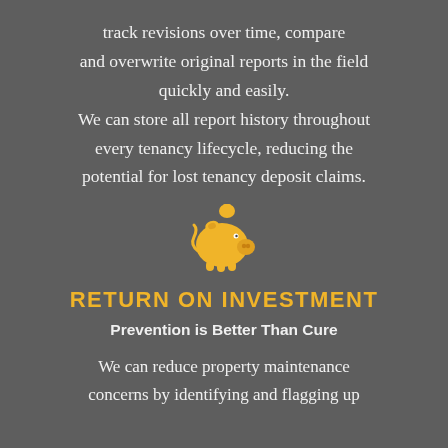track revisions over time, compare and overwrite original reports in the field quickly and easily. We can store all report history throughout every tenancy lifecycle, reducing the potential for lost tenancy deposit claims.
[Figure (illustration): Golden/yellow piggy bank icon]
RETURN ON INVESTMENT
Prevention is Better Than Cure
We can reduce property maintenance concerns by identifying and flagging up